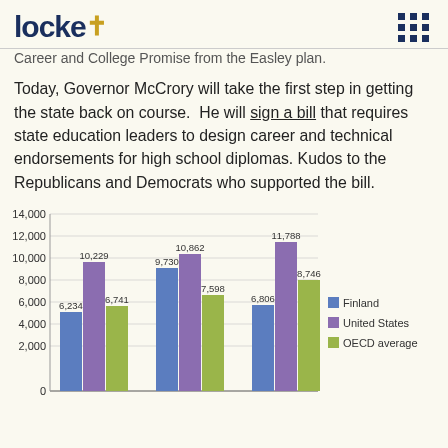locke i (logo)
Career and College Promise from the Easley plan.
Today, Governor McCrory will take the first step in getting the state back on course.  He will sign a bill that requires state education leaders to design career and technical endorsements for high school diplomas. Kudos to the Republicans and Democrats who supported the bill.
[Figure (grouped-bar-chart): ]